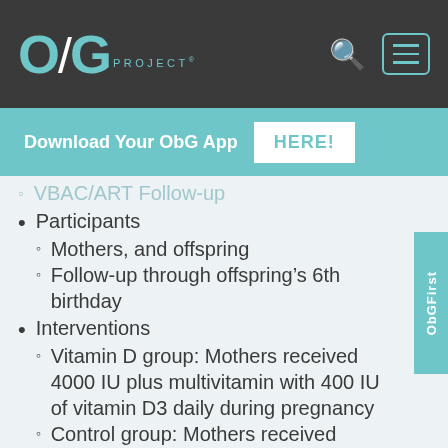[Figure (logo): ObG Project logo with teal lettering on dark background, with search and menu icons]
Download Your ObG App HERE!
VBAC/ART Follow-up (partially visible, faded)
Participants
Mothers, and offspring
Follow-up through offspring's 6th birthday
Interventions
Vitamin D group: Mothers received 4000 IU plus multivitamin with 400 IU of vitamin D3 daily during pregnancy
Control group: Mothers received multivitamin with 400 IU of vitamin (partially visible)